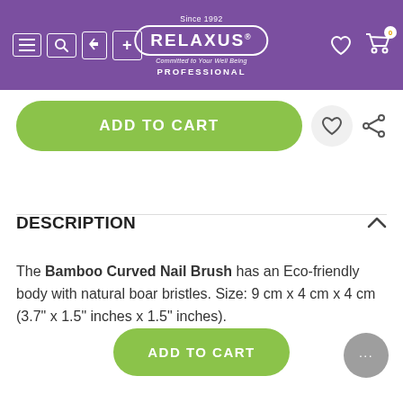Relaxus Professional — Since 1992 — Committed to Your Well Being
[Figure (screenshot): Green rounded Add to Cart button with heart and share icons]
DESCRIPTION
The Bamboo Curved Nail Brush has an Eco-friendly body with natural boar bristles. Size: 9 cm x 4 cm x 4 cm (3.7" x 1.5" inches x 1.5" inches).
[Figure (screenshot): Second green rounded Add to Cart button at bottom, with grey chat bubble icon]
[Figure (screenshot): Grey chat support bubble with ellipsis dots at bottom right]